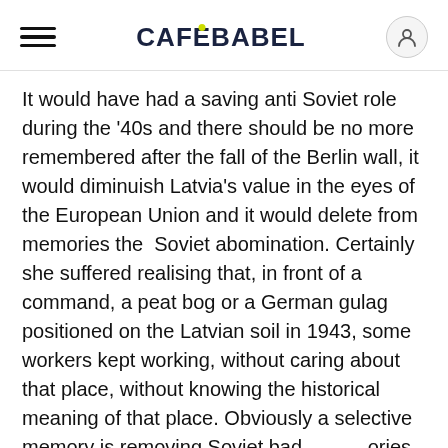CAFEBABEL
It would have had a saving anti Soviet role during the '40s and there should be no more remembered after the fall of the Berlin wall, it would diminuish Latvia's value in the eyes of the European Union and it would delete from memories the  Soviet abomination. Certainly she suffered realising that, in front of a command, a peat bog or a German gulag positioned on the Latvian soil in 1943, some workers kept working, without caring about that place, without knowing the historical meaning of that place. Obviously a selective memory is removing Soviet bad memories, also thanks to a good process of public awareness. We can't say the same for the Nazi